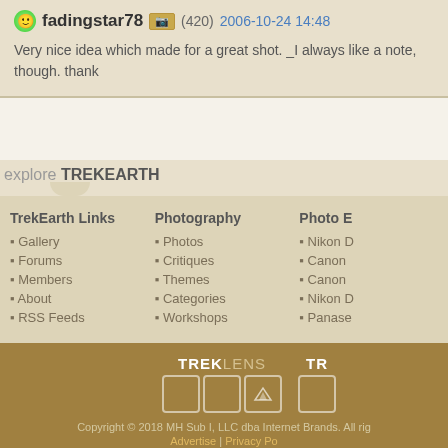fadingstar78 (420) 2006-10-24 14:48
Very nice idea which made for a great shot. _I always like a note, though. thank
explore TREKEARTH
TrekEarth Links
Gallery
Forums
Members
About
RSS Feeds
Photography
Photos
Critiques
Themes
Categories
Workshops
Photo E
Nikon D
Canon
Canon
Nikon D
Panase
[Figure (logo): TREKLENS logo with photo boxes]
Copyright © 2018 MH Sub I, LLC dba Internet Brands. All rig Advertise | Privacy Po